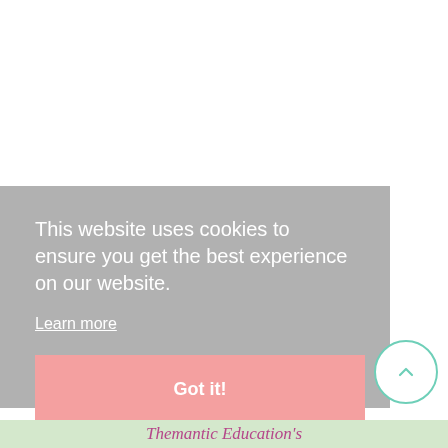This website uses cookies to ensure you get the best experience on our website.
Learn more
Got it!
Themantic Education's